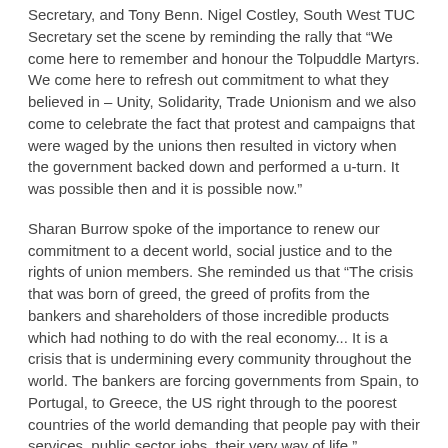Secretary, and Tony Benn. Nigel Costley, South West TUC Secretary set the scene by reminding the rally that “We come here to remember and honour the Tolpuddle Martyrs. We come here to refresh out commitment to what they believed in – Unity, Solidarity, Trade Unionism and we also come to celebrate the fact that protest and campaigns that were waged by the unions then resulted in victory when the government backed down and performed a u-turn. It was possible then and it is possible now.”
Sharan Burrow spoke of the importance to renew our commitment to a decent world, social justice and to the rights of union members. She reminded us that “The crisis that was born of greed, the greed of profits from the bankers and shareholders of those incredible products which had nothing to do with the real economy... It is a crisis that is undermining every community throughout the world. The bankers are forcing governments from Spain, to Portugal, to Greece, the US right through to the poorest countries of the world demanding that people pay with their services, public sector jobs, their very way of life.”